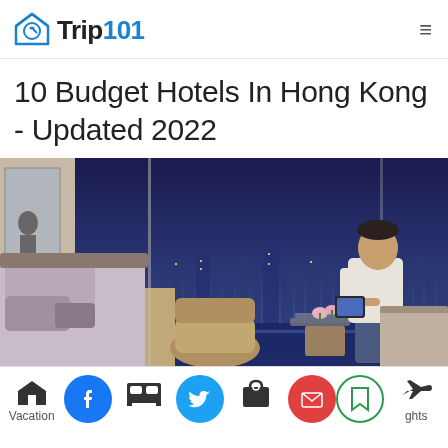Trip101
10 Budget Hotels In Hong Kong - Updated 2022
[Figure (photo): A man sitting on a window ledge in a modern hotel room using a tablet, with a panoramic city skyline view at dusk visible through floor-to-ceiling windows. A bed with gray pillows is in the foreground.]
Vacation | Hotels | Bags | Flights